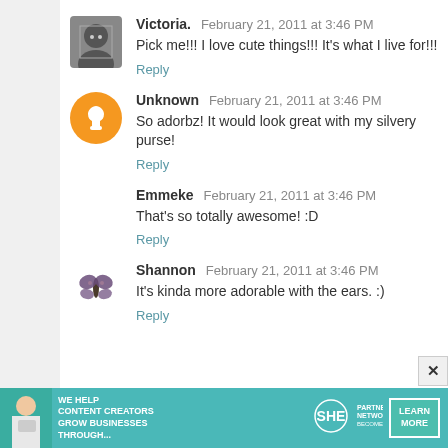Victoria.  February 21, 2011 at 3:46 PM
Pick me!!! I love cute things!!! It's what I live for!!!
Reply
Unknown  February 21, 2011 at 3:46 PM
So adorbz! It would look great with my silvery purse!
Reply
Emmeke  February 21, 2011 at 3:46 PM
That's so totally awesome! :D
Reply
Shannon  February 21, 2011 at 3:46 PM
It's kinda more adorable with the ears. :)
Reply
[Figure (infographic): Advertisement banner: teal background with woman photo, SHE Partner Network logo, text 'We help content creators grow businesses through...', Learn More button]